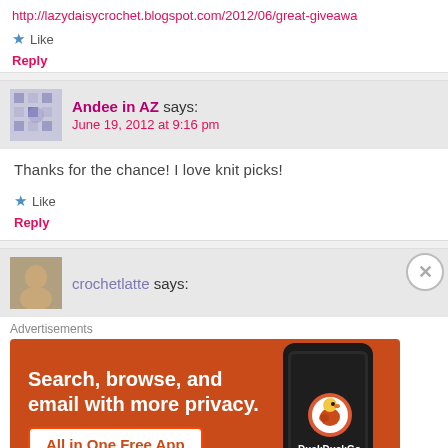http://lazydaisycrochet.blogspot.com/2012/06/great-giveawa
Like
Reply
Andee in AZ says: June 19, 2012 at 9:16 pm
Thanks for the chance! I love knit picks!
Like
Reply
crochetlatte says:
[Figure (screenshot): DuckDuckGo advertisement banner: orange background with text 'Search, browse, and email with more privacy. All in One Free App' and DuckDuckGo logo with a phone graphic]